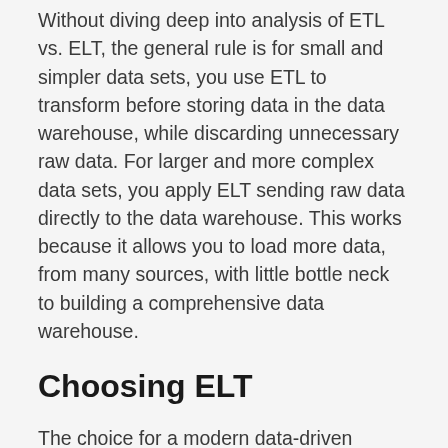Without diving deep into analysis of ETL vs. ELT, the general rule is for small and simpler data sets, you use ETL to transform before storing data in the data warehouse, while discarding unnecessary raw data. For larger and more complex data sets, you apply ELT sending raw data directly to the data warehouse. This works because it allows you to load more data, from many sources, with little bottle neck to building a comprehensive data warehouse.
Choosing ELT
The choice for a modern data-driven business who would be to go with ELT to handle numerous data sources and then transform your data in your data warehouse with a tool like DBT. Remember that your data sources range from internal business data, 3rd party API data, and unstructured data. If you had to worry about writing code for